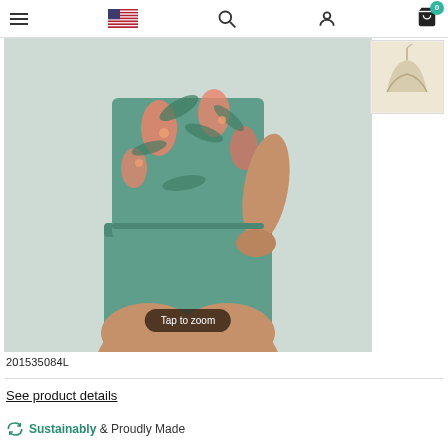Navigation bar with hamburger menu, US flag, search, account, and cart (0) icons
[Figure (photo): Woman wearing a green/teal floral tropical print sleeveless top with flamingo and palm leaf pattern, paired with solid teal bike shorts. Image shows torso and legs. Tap to zoom overlay visible.]
[Figure (photo): Thumbnail image of a beige/cream bra on hanger]
201535084L
See product details
Sustainably & Proudly Made